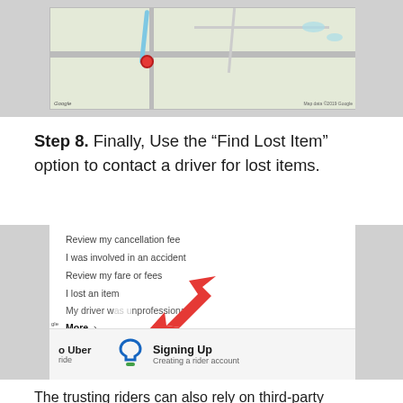[Figure (screenshot): Top portion of a map screenshot showing a Google Maps view with roads and a red location pin]
Step 8. Finally, Use the “Find Lost Item” option to contact a driver for lost items.
[Figure (screenshot): Screenshot of the Uber app showing a menu with options: Review my cancellation fee, I was involved in an accident, Review my fare or fees, I lost an item, My driver was unprofessional, More >. A red arrow points to 'I lost an item'. Bottom navigation shows 'Signing Up - Creating a rider account'.]
The trusting riders can also rely on third-party websites or